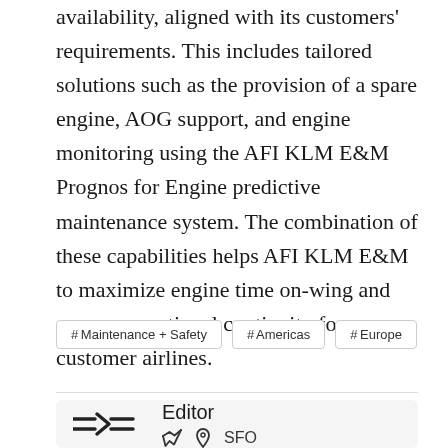availability, aligned with its customers' requirements. This includes tailored solutions such as the provision of a spare engine, AOG support, and engine monitoring using the AFI KLM E&M Prognos for Engine predictive maintenance system. The combination of these capabilities helps AFI KLM E&M to maximize engine time on-wing and ensure operational continuity for customer airlines.
#Maintenance + Safety
#Americas
#Europe
[Figure (logo): AFI KLM E&M logo mark — stylized equals-chevron-equals symbol]
Editor
SFO